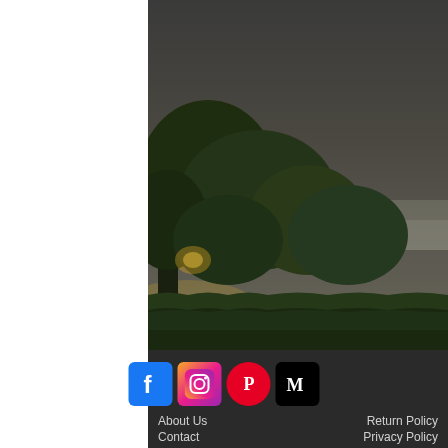[Figure (photo): Vineyard and tree landscape at dusk with misty background, dark moody sky above green trees and vine rows. Right side shows golden-hour vineyard rows with mist in valley.]
[Figure (infographic): Social media icons row: Facebook (blue), Instagram (gradient), Pinterest (red circle), Medium (black M)]
About Us   Contact   Return Policy   Privacy Policy